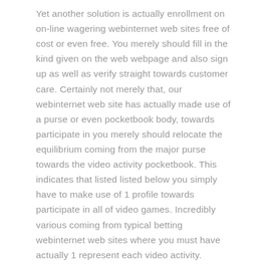Yet another solution is actually enrollment on on-line wagering webinternet web sites free of cost or even free. You merely should fill in the kind given on the web webpage and also sign up as well as verify straight towards customer care. Certainly not merely that, our webinternet web site has actually made use of a purse or even pocketbook body, towards participate in you merely should relocate the equilibrium coming from the major purse towards the video activity pocketbook. This indicates that listed listed below you simply have to make use of 1 profile towards participate in all of video games. Incredibly various coming from typical betting webinternet web sites where you must have actually 1 represent each video activity.